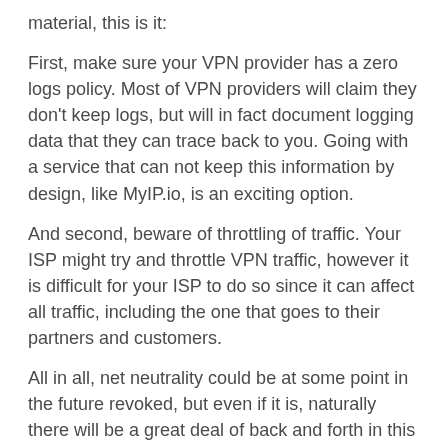material, this is it:
First, make sure your VPN provider has a zero logs policy. Most of VPN providers will claim they don't keep logs, but will in fact document logging data that they can trace back to you. Going with a service that can not keep this information by design, like MyIP.io, is an exciting option.
And second, beware of throttling of traffic. Your ISP might try and throttle VPN traffic, however it is difficult for your ISP to do so since it can affect all traffic, including the one that goes to their partners and customers.
All in all, net neutrality could be at some point in the future revoked, but even if it is, naturally there will be a great deal of back and forth in this kind of matter. Attempts for another repeal might and will be pushed forward, if the case. ISPs have a lot at stake to simply give in that easy. While fighting a good cause is important, we think that focusing on circumventing the effects of net neutrality repeal is equally as important. Especially since, going around it, requires just a simple education and making sure that we're a bit more savvy then yesterday, when it comes to our individual rights and preserving them in an